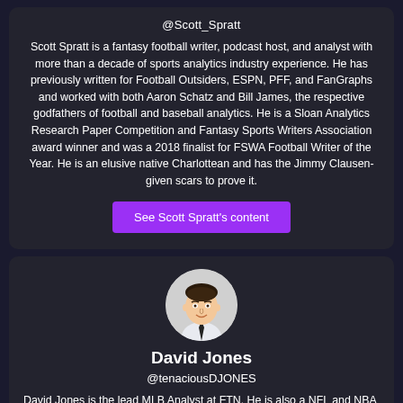@Scott_Spratt
Scott Spratt is a fantasy football writer, podcast host, and analyst with more than a decade of sports analytics industry experience. He has previously written for Football Outsiders, ESPN, PFF, and FanGraphs and worked with both Aaron Schatz and Bill James, the respective godfathers of football and baseball analytics. He is a Sloan Analytics Research Paper Competition and Fantasy Sports Writers Association award winner and was a 2018 finalist for FSWA Football Writer of the Year. He is an elusive native Charlottean and has the Jimmy Clausen-given scars to prove it.
See Scott Spratt's content
[Figure (illustration): Circular avatar illustration of David Jones, a man with dark hair wearing a white shirt and black tie, cartoon style]
David Jones
@tenaciousDJONES
David Jones is the lead MLB Analyst at FTN. He is also a NFL and NBA DFS Pro.